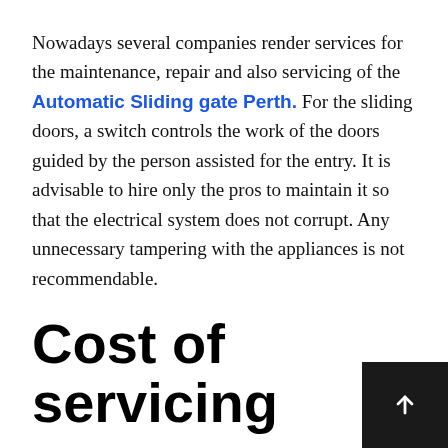Nowadays several companies render services for the maintenance, repair and also servicing of the Automatic Sliding gate Perth. For the sliding doors, a switch controls the work of the doors guided by the person assisted for the entry. It is advisable to hire only the pros to maintain it so that the electrical system does not corrupt. Any unnecessary tampering with the appliances is not recommendable.
Cost of servicing
Every company that has installed the automatic gates needs to know about the cost of servicing and also the different kinds of services that are available. Due to excessive task of the gates, mainly the joints that the gate tends to wear off. It needs to be greased from